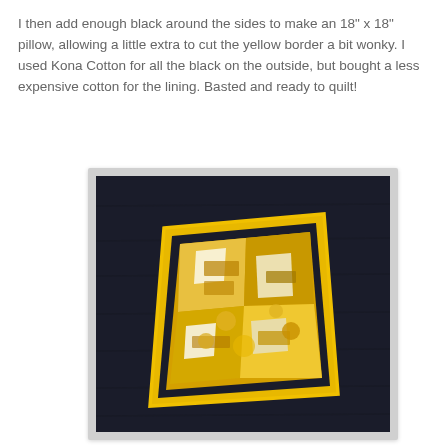I then add enough black around the sides to make an 18" x 18" pillow, allowing a little extra to cut the yellow border a bit wonky.  I used Kona Cotton for all the black on the outside, but bought a less expensive cotton for the lining.  Basted and ready to quilt!
[Figure (photo): A quilt pillow top laid flat showing a dark navy/black background with a yellow and white patchwork square placed slightly off-center (wonky), surrounded by a thin yellow border. The yellow pieced block contains various shades of yellow fabrics with white accents.]